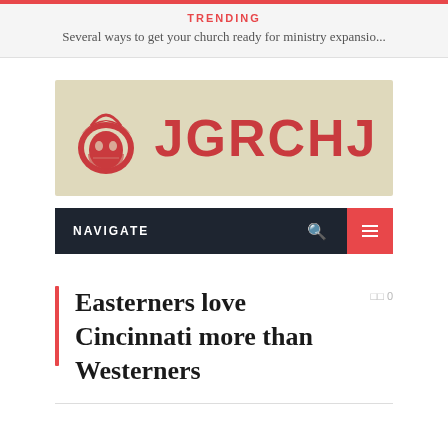TRENDING
Several ways to get your church ready for ministry expansio...
[Figure (logo): JGRCHJ logo on a beige/tan background with a Roman soldier helmet icon on the left and the text JGRCHJ in large red letters]
NAVIGATE
Easterners love Cincinnati more than Westerners